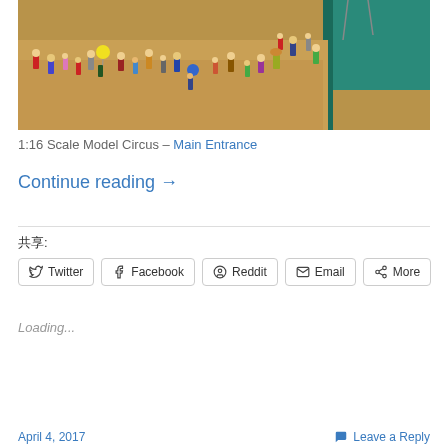[Figure (photo): Aerial view of a 1:16 scale model circus scene showing many miniature figurines of people standing in a sandy area near a building with teal-colored structures]
1:16 Scale Model Circus – Main Entrance
Continue reading →
共享:
Twitter Facebook Reddit Email More
Loading...
April 4, 2017   Leave a Reply